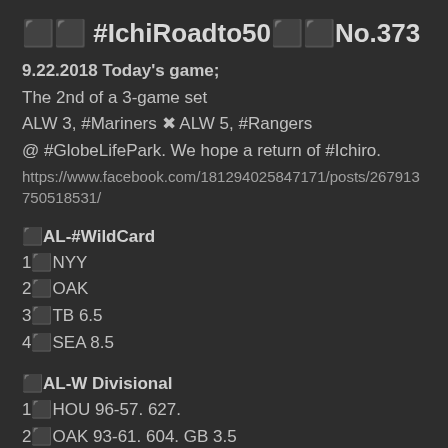⬛⬛ #IchiRoadto50⬛⬛No.373
9.22.2018 Today's game;
The 2nd of a 3-game set
ALW 3, #Mariners ✖ ALW 5, #Rangers
@ #GlobeLifePark. We hope a return of #Ichiro.
https://www.facebook.com/181294025847171/posts/267913750518531/
⬛AL-#WildCard
1⬛NYY
2⬛OAK
3⬛TB 6.5
4⬛SEA 8.5
⬛AL-W Divisional
1⬛HOU 96-57. 627.
2⬛OAK 93-61. 604. GB 3.5
3⬛SEA  84-69.  549. GB 12.0
4⬛LAA 75-79. 487 GB 21.5